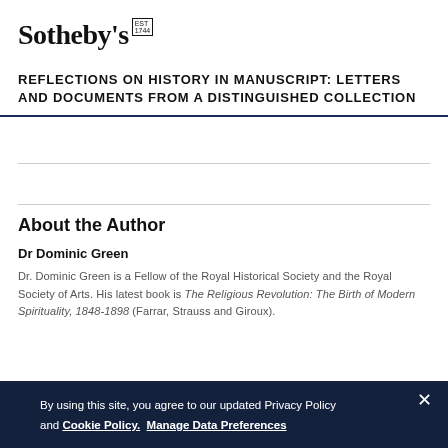Sotheby's EST 1744
REFLECTIONS ON HISTORY IN MANUSCRIPT: LETTERS AND DOCUMENTS FROM A DISTINGUISHED COLLECTION
About the Author
Dr Dominic Green
Dr. Dominic Green is a Fellow of the Royal Historical Society and the Royal Society of Arts. His latest book is The Religious Revolution: The Birth of Modern Spirituality, 1848-1898 (Farrar, Strauss and Giroux).
By using this site, you agree to our updated Privacy Policy and Cookie Policy. Manage Data Preferences